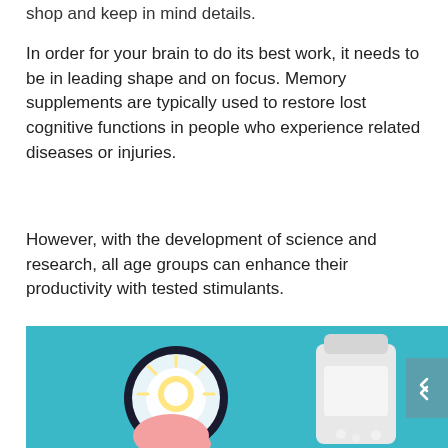shop and keep in mind details.
In order for your brain to do its best work, it needs to be in leading shape and on focus. Memory supplements are typically used to restore lost cognitive functions in people who experience related diseases or injuries.
However, with the development of science and research, all age groups can enhance their productivity with tested stimulants.
[Figure (photo): Image on teal/blue background showing a hand holding a magnifying glass with a glowing light bulb inside, and a white supplement/medicine bottle on the right side.]